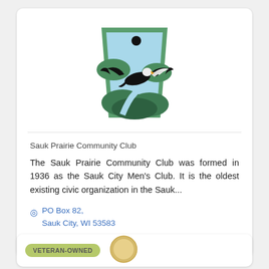[Figure (logo): Sauk Prairie Community Club logo: a keystone/trapezoid shape with a bald eagle in flight over a river landscape with green hills and a sun, in green, blue, and black colors.]
Sauk Prairie Community Club
The Sauk Prairie Community Club was formed in 1936 as the Sauk City Men's Club. It is the oldest existing civic organization in the Sauk...
PO Box 82, Sauk City, WI 53583
(608) 643-6874
[Figure (logo): Partially visible circular logo at the bottom of the page, next to a VETERAN-OWNED badge.]
VETERAN-OWNED